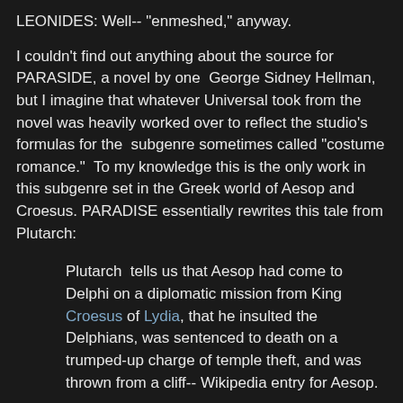LEONIDES: Well-- "enmeshed," anyway.
I couldn't find out anything about the source for PARASIDE, a novel by one  George Sidney Hellman, but I imagine that whatever Universal took from the novel was heavily worked over to reflect the studio's formulas for the  subgenre sometimes called "costume romance."  To my knowledge this is the only work in this subgenre set in the Greek world of Aesop and Croesus. PARADISE essentially rewrites this tale from Plutarch:
Plutarch  tells us that Aesop had come to Delphi on a diplomatic mission from King Croesus of Lydia, that he insulted the Delphians, was sentenced to death on a trumped-up charge of temple theft, and was thrown from a cliff-- Wikipedia entry for Aesop.
The film PARADISE somehow manages to enswathe this story-nugget in a bewildering "mesh" of